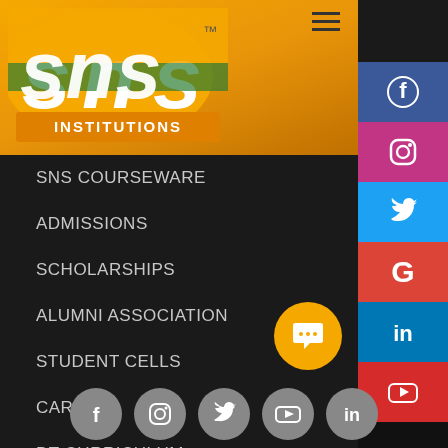[Figure (logo): SNS Institutions logo — white stylized 'sns' letters on green/orange background with 'INSTITUTIONS' text below]
SNS COURSEWARE
ADMISSIONS
SCHOLARSHIPS
ALUMNI ASSOCIATION
STUDENT CELLS
CAREER
DT CURRICULUM
CAMPUS GMAIL
[Figure (infographic): Social media sidebar with Facebook (blue), Instagram (pink), Twitter (light blue), Google (red), LinkedIn (blue), YouTube (red) buttons]
[Figure (infographic): Footer with social media circle icons: Facebook, Instagram, Twitter, YouTube, LinkedIn]